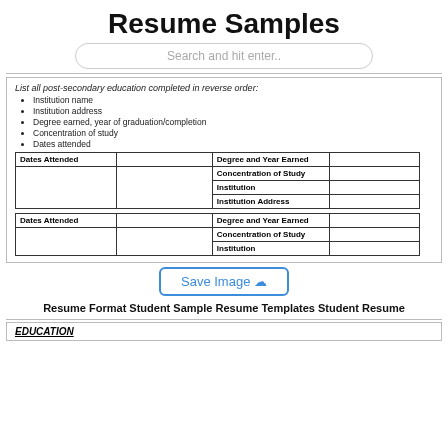Resume Samples
Search and hit enter..
List all post-secondary education completed in reverse order:
Institution name
Institution address
Degree earned, year of graduation/completion
Concentration of study
Dates attended
| Dates Attended |  | Degree and Year Earned |  |
| --- | --- | --- | --- |
|  |  | Concentration of Study |  |
|  |  | Institution |  |
|  |  | Institution Address |  |
| Dates Attended |  | Degree and Year Earned |  |
| --- | --- | --- | --- |
|  |  | Concentration of Study |  |
|  |  | Institution |  |
[Figure (other): Save Image button with cloud icon]
Resume Format Student Sample Resume Templates Student Resume
EDUCATION